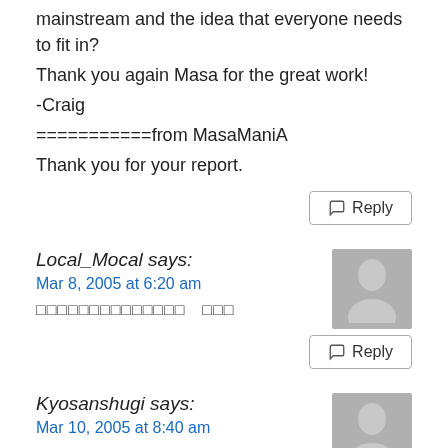mainstream and the idea that everyone needs to fit in?
Thank you again Masa for the great work!
-Craig
===========from MasaManiA
Thank you for your report.
Reply
Local_Mocal says:
Mar 8, 2005 at 6:20 am
□□□□□□□□□□□□□□　□□□
Reply
Kyosanshugi says:
Mar 10, 2005 at 8:40 am
Grindcore witth accordions? That's a new one.